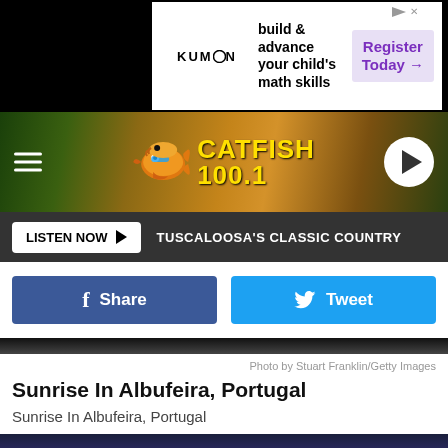[Figure (screenshot): Kumon advertisement banner: 'build & advance your child's math skills' with 'Register Today →' button]
[Figure (logo): Catfish 100.1 radio station header with catfish mascot logo on background landscape photo]
LISTEN NOW ▶  TUSCALOOSA'S CLASSIC COUNTRY
Share
Tweet
Photo by Stuart Franklin/Getty Images
Sunrise In Albufeira, Portugal
Sunrise In Albufeira, Portugal
[Figure (photo): Sunrise photo showing purple and pink sky with palm tree silhouette]
[Figure (screenshot): Petco advertisement: 'Your Pet's Summer Gear Is Here' with Petco logo]